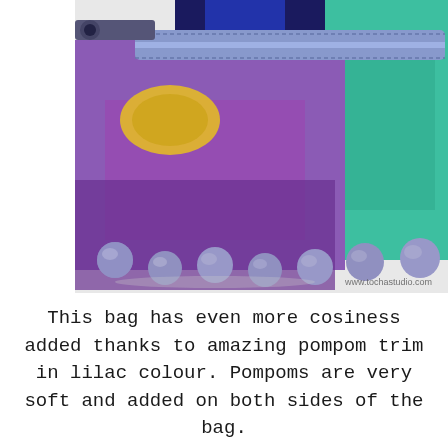[Figure (photo): Close-up photo of a colorful bag with purple, teal, and blue fabric panels, featuring a lilac/lavender pompom trim along the bottom edge. The bag has a zipper at the top. Watermark reads: www.tochastudio.com]
This bag has even more cosiness added thanks to amazing pompom trim in lilac colour. Pompoms are very soft and added on both sides of the bag.